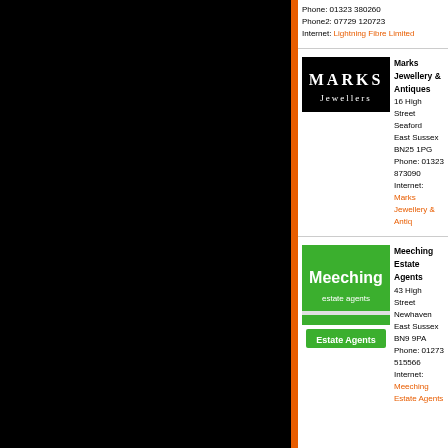Phone: 01323 380260
Phone2: 07729 120723
Internet: Lightning Fibre Limited
[Figure (logo): Marks Jewellers logo — black background with 'MARKS' in large white serif letters and 'Jewellers' underneath in white]
Marks Jewellery & Antiques
16 High Street
Seaford
East Sussex
BN25 1PG
Phone: 01323 873090
Internet: Marks Jewellery & Antiques
[Figure (logo): Meeching Estate Agents logo — green background with 'Meeching estate agents' in white text and a green 'Estate Agents' banner below]
Meeching Estate Agents
43 High Street
Newhaven
East Sussex
BN9 9PA
Phone: 01273 515566
Internet: Meeching Estate Agents